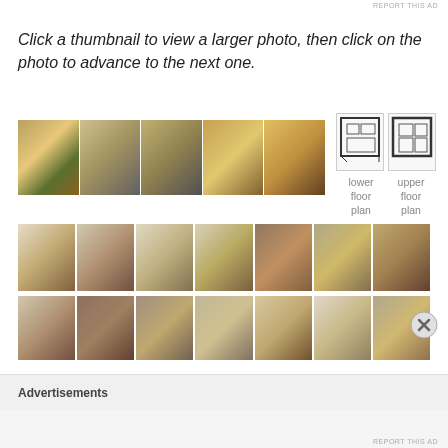REPORT THIS AD
Click a thumbnail to view a larger photo, then click on the photo to advance to the next one.
[Figure (photo): Wide strip of exterior house photos showing colorful Danish-style row houses]
[Figure (schematic): Lower floor plan and upper floor plan diagrams side by side with labels 'lower floor plan' and 'upper floor plan']
[Figure (photo): Row of interior room thumbnail photos]
[Figure (photo): Row of interior room thumbnail photos (second row)]
Advertisements
REPORT THIS AD